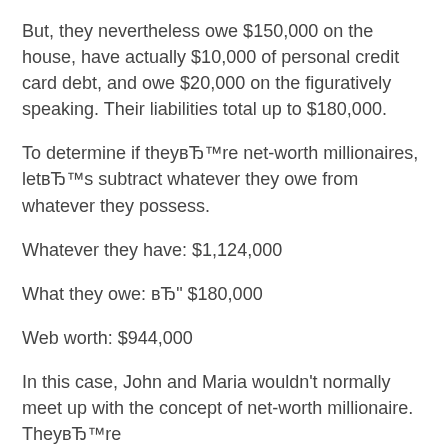But, they nevertheless owe $150,000 on the house, have actually $10,000 of personal credit card debt, and owe $20,000 on the figuratively speaking. Their liabilities total up to $180,000.
To determine if theyвЂ™re net-worth millionaires, letвЂ™s subtract whatever they owe from whatever they possess.
Whatever they have: $1,124,000
What they owe: вЂ“ $180,000
Web worth: $944,000
In this case, John and Maria wouldn’t normally meet up with the concept of net-worth millionaire. TheyвЂ™re